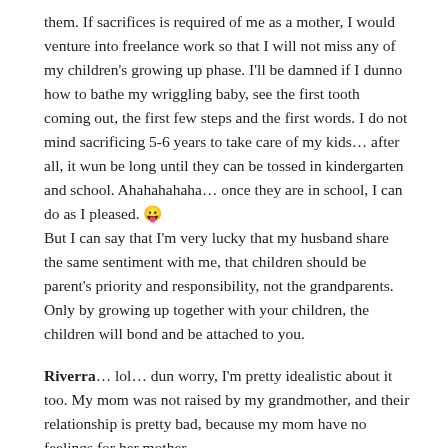them. If sacrifices is required of me as a mother, I would venture into freelance work so that I will not miss any of my children's growing up phase. I'll be damned if I dunno how to bathe my wriggling baby, see the first tooth coming out, the first few steps and the first words. I do not mind sacrificing 5-6 years to take care of my kids… after all, it wun be long until they can be tossed in kindergarten and school. Ahahahahaha… once they are in school, I can do as I pleased. 😛 But I can say that I'm very lucky that my husband share the same sentiment with me, that children should be parent's priority and responsibility, not the grandparents. Only by growing up together with your children, the children will bond and be attached to you.
Riverra… lol… dun worry, I'm pretty idealistic about it too. My mom was not raised by my grandmother, and their relationship is pretty bad, because my mom have no feelings for her mother